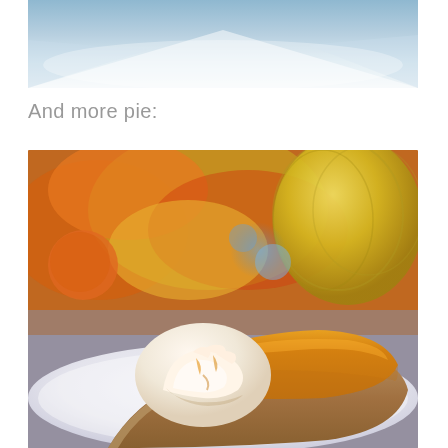[Figure (photo): Top portion of a photo showing a blue and white tablecloth or plate, partially visible at the top of the page]
And more pie:
[Figure (photo): A slice of pumpkin pie topped with swirled whipped cream on a white plate, with a blurred background of colorful fall decorations including orange and yellow gourds/pumpkins]